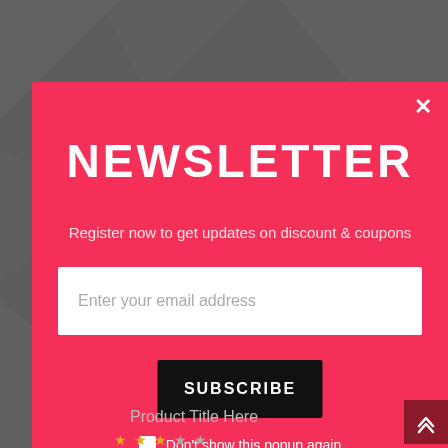[Figure (screenshot): Newsletter signup modal popup with red/pink background, email input field, subscribe button, and checkbox for not showing popup again. Below the modal is a dark gray background showing a product section with title and star rating.]
NEWSLETTER
Register now to get updates on discount & coupons
Enter your email address
SUBSCRIBE
Don't show this popup again
Product Title Here